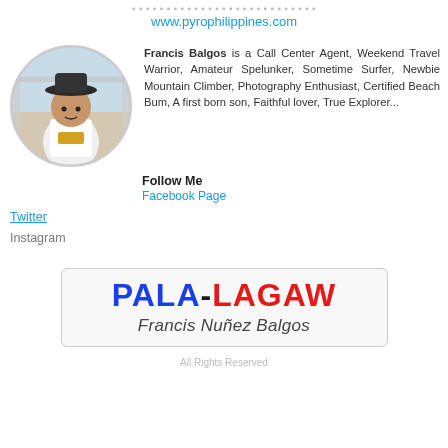www.pyrophilippines.com
[Figure (photo): Circular profile photo of Francis Balgos, a young man wearing a white tank top and black hat, standing near a metal gate outdoors]
Francis Balgos is a Call Center Agent, Weekend Travel Warrior, Amateur Spelunker, Sometime Surfer, Newbie Mountain Climber, Photography Enthusiast, Certified Beach Bum, A first born son, Faithful lover, True Explorer...
Follow Me
Facebook Page
Twitter
Instagram
[Figure (logo): Pala-Lagaw logo with colorful bold text 'PALA-LAGAW' and script text 'Francis Nuñez Balgos' below]
All Rights Reserved